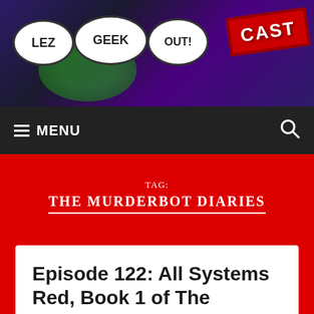[Figure (logo): Lez Geek Out! Cast logo with comic-style speech bubbles on purple/dark background with red CAST stamp]
MENU
TAG: THE MURDERBOT DIARIES
Episode 122: All Systems Red, Book 1 of The Murderbot Diaries by Martha Wells